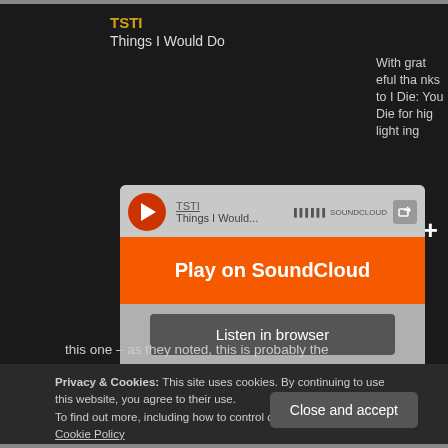TSTI
Things I Would Do
With grateful thanks to I Die: You Die for highlighting
[Figure (screenshot): SoundCloud embedded player widget with orange 'Play on SoundCloud' button and grey 'Listen in browser' button. Shows TSTI - Things I Would. Has Privacy policy link and 2.2K play count.]
this one – as they noted, this is probably the closest anyone has got to the *feel*, not just the sound of classic
Privacy & Cookies: This site uses cookies. By continuing to use this website, you agree to their use.
To find out more, including how to control cookies, see here: Cookie Policy
Close and accept